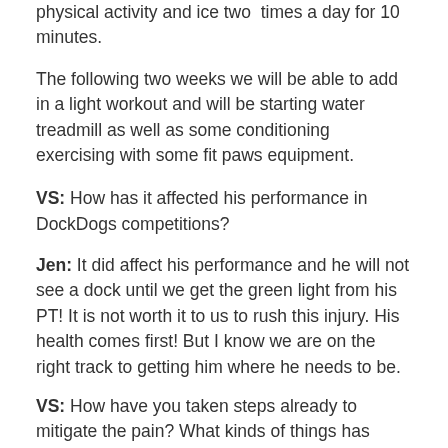physical activity and ice two times a day for 10 minutes.
The following two weeks we will be able to add in a light workout and will be starting water treadmill as well as some conditioning exercising with some fit paws equipment.
VS: How has it affected his performance in DockDogs competitions?
Jen: It did affect his performance and he will not see a dock until we get the green light from his PT! It is not worth it to us to rush this injury. His health comes first! But I know we are on the right track to getting him where he needs to be.
VS: How have you taken steps already to mitigate the pain? What kinds of things has Taho been responding well